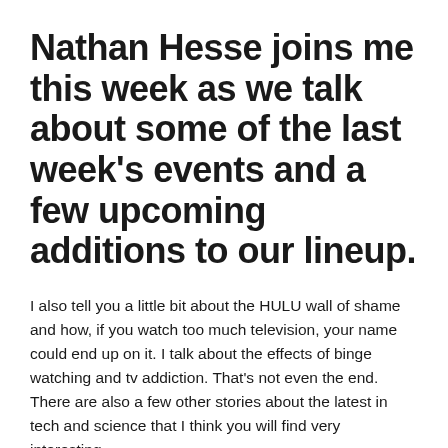Nathan Hesse joins me this week as we talk about some of the last week's events and a few upcoming additions to our lineup.
I also tell you a little bit about the HULU wall of shame and how, if you watch too much television, your name could end up on it. I talk about the effects of binge watching and tv addiction. That's not even the end. There are also a few other stories about the latest in tech and science that I think you will find very interesting.
Nathan Hesse joins me this week as we talk about some of the last week's events and a few upcoming additions to our lineup. I interview Nathan and chat with